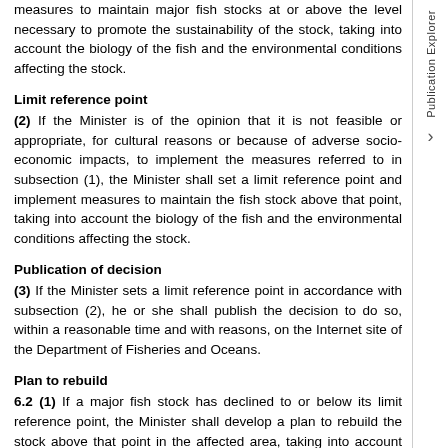measures to maintain major fish stocks at or above the level necessary to promote the sustainability of the stock, taking into account the biology of the fish and the environmental conditions affecting the stock.
Limit reference point
(2) If the Minister is of the opinion that it is not feasible or appropriate, for cultural reasons or because of adverse socio-economic impacts, to implement the measures referred to in subsection (1), the Minister shall set a limit reference point and implement measures to maintain the fish stock above that point, taking into account the biology of the fish and the environmental conditions affecting the stock.
Publication of decision
(3) If the Minister sets a limit reference point in accordance with subsection (2), he or she shall publish the decision to do so, within a reasonable time and with reasons, on the Internet site of the Department of Fisheries and Oceans.
Plan to rebuild
6.2 (1) If a major fish stock has declined to or below its limit reference point, the Minister shall develop a plan to rebuild the stock above that point in the affected area, taking into account the